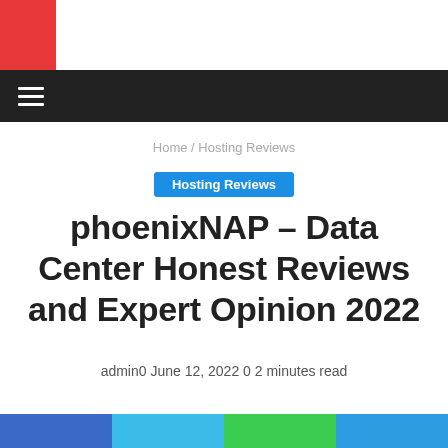[Figure (logo): Red square logo block in top left corner]
≡
Home / Hosting Reviews
Hosting Reviews
phoenixNAP – Data Center Honest Reviews and Expert Opinion 2022
admin0   June 12, 2022   0   2 minutes read
[Figure (other): Four colored horizontal strips at bottom: dark blue, light blue, green, medium blue]